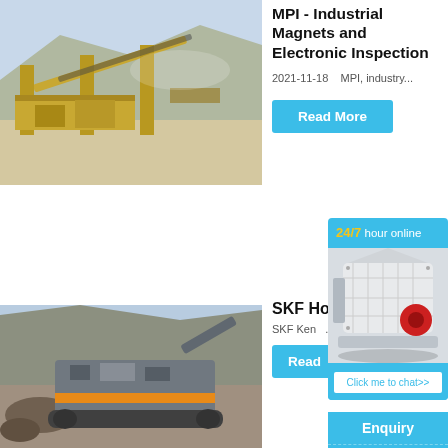[Figure (photo): Mining/quarry crushing plant with yellow steel structure conveyor belts and machinery on rocky terrain]
MPI - Industrial Magnets and Electronic Inspection
2021-11-18    MPI, industry...
Read More
[Figure (photo): Mobile crushing/screening machine with orange stripe on tracked chassis at a quarry site]
SKF Ho
SKF Ken ...
Read
[Figure (photo): Chat widget showing industrial jaw crusher machine in white and red, with 24/7 hour online label]
24/7 hour online
Click me to chat>>
Enquiry
limingjlmofen